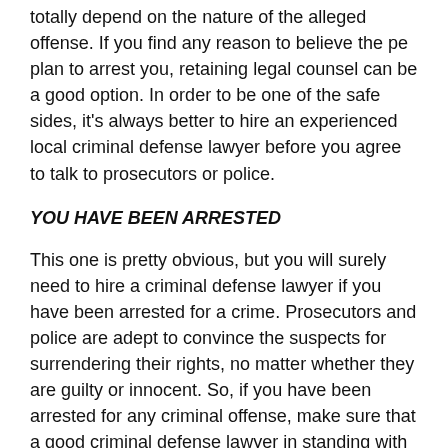totally depend on the nature of the alleged offense. If you find any reason to believe the pe plan to arrest you, retaining legal counsel can be a good option. In order to be one of the safe sides, it's always better to hire an experienced local criminal defense lawyer before you agree to talk to prosecutors or police.
YOU HAVE BEEN ARRESTED
This one is pretty obvious, but you will surely need to hire a criminal defense lawyer if you have been arrested for a crime. Prosecutors and police are adept to convince the suspects for surrendering their rights, no matter whether they are guilty or innocent. So, if you have been arrested for any criminal offense, make sure that a good criminal defense lawyer in standing with you when you are speaking to police.
WRAPPING UP